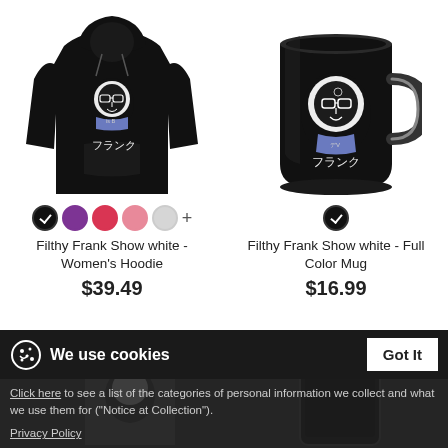[Figure (photo): Black women's hoodie with white/blue Filthy Frank anime-style graphic and Japanese katakana text]
[Figure (photo): Black full-color mug with white/blue Filthy Frank anime-style graphic and Japanese katakana text]
Filthy Frank Show white - Women's Hoodie
$39.49
Filthy Frank Show white - Full Color Mug
$16.99
We use cookies
Click here to see a list of the categories of personal information we collect and what we use them for ("Notice at Collection").
Privacy Policy
Do Not Sell My Personal Information
By using this website, I agree to the Terms and Conditions